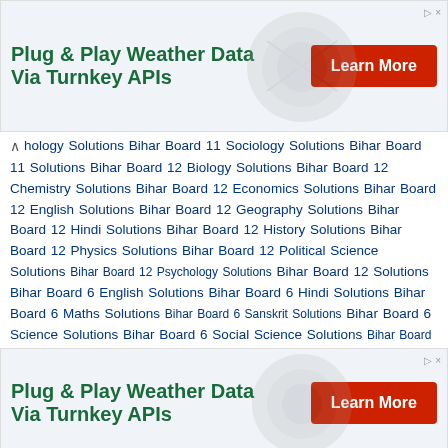[Figure (other): Advertisement banner: Plug & Play Weather Data Via Turnkey APIs with Learn More button]
hology Solutions Bihar Board 11 Sociology Solutions Bihar Board 11 Solutions Bihar Board 12 Biology Solutions Bihar Board 12 Chemistry Solutions Bihar Board 12 Economics Solutions Bihar Board 12 English Solutions Bihar Board 12 Geography Solutions Bihar Board 12 Hindi Solutions Bihar Board 12 History Solutions Bihar Board 12 Physics Solutions Bihar Board 12 Political Science Solutions Bihar Board 12 Psychology Solutions Bihar Board 12 Solutions Bihar Board 6 English Solutions Bihar Board 6 Hindi Solutions Bihar Board 6 Maths Solutions Bihar Board 6 Sanskrit Solutions Bihar Board 6 Science Solutions Bihar Board 6 Social Science Solutions Bihar Board 6 Solutions Bihar Board 7 English Solutions Bihar Board 7 Hindi Solutions Bihar Board 7 Maths Solutions Bihar Board 7 Sanskrit Solutions Bihar Board 7 Science Solutions Bihar Board 7 Social Science Solutions Bihar Board 7 Solutions Bihar Board 8 English Solutions Bihar Board 8 Hindi Solutions Bihar Board 8 Maths Solutions Bihar Board 8 Sanskrit Solutions Bihar Board
[Figure (other): Advertisement banner: Plug & Play Weather Data Via Turnkey APIs with Learn More button]
Maths Solutions Bihar Board 9 Sanskrit Solutions Bihar Board 9 Science Solutions Bihar Board 9 Social Science Solutions The Board